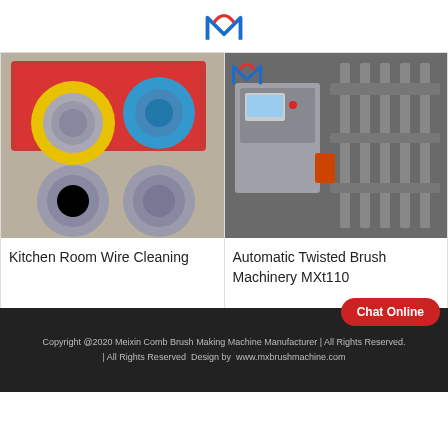Meixin logo
[Figure (photo): Kitchen room wire cleaning ball scrubbers in plastic packaging - metallic wire balls with colorful flower holders]
Kitchen Room Wire Cleaning
[Figure (photo): Automatic Twisted Brush Machinery MXt110 - industrial brush making machine]
Automatic Twisted Brush Machinery MXt110
Copyright @2020 Meixin Comb Brush Making Machine Manufacturer | All Rights Reserved.| All Rights Reserved  Design by  www.mxbrushmachine.com
Chat Online